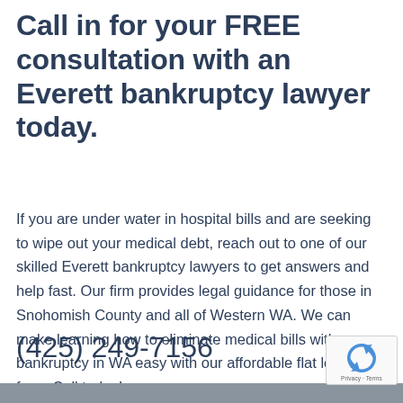Call in for your FREE consultation with an Everett bankruptcy lawyer today.
If you are under water in hospital bills and are seeking to wipe out your medical debt, reach out to one of our skilled Everett bankruptcy lawyers to get answers and help fast. Our firm provides legal guidance for those in Snohomish County and all of Western WA. We can make learning how to eliminate medical bills with bankruptcy in WA easy with our affordable flat low fees. Call today!
(425) 249-7156
Privacy · Terms